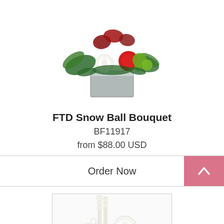[Figure (photo): Floral arrangement: FTD Snow Ball Bouquet in a silver rectangular vase with red chrysanthemums, a white rose, green button mums, red berries, and fern foliage]
FTD Snow Ball Bouquet
BF11917
from $88.00 USD
Order Now
[Figure (photo): Partial view of a second floral arrangement featuring white flowers including roses, snapdragons, and dahlias with green foliage in a vase]